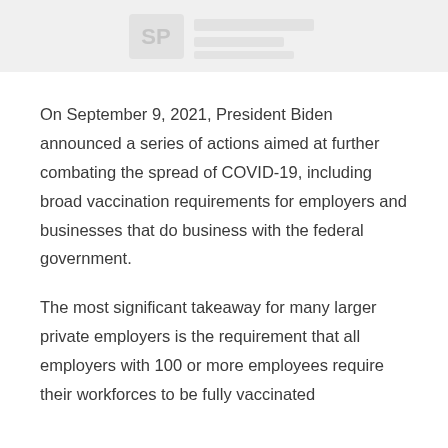[Figure (logo): Faded/watermark logo or header image at top of page]
On September 9, 2021, President Biden announced a series of actions aimed at further combating the spread of COVID-19, including broad vaccination requirements for employers and businesses that do business with the federal government.
The most significant takeaway for many larger private employers is the requirement that all employers with 100 or more employees require their workforces to be fully vaccinated